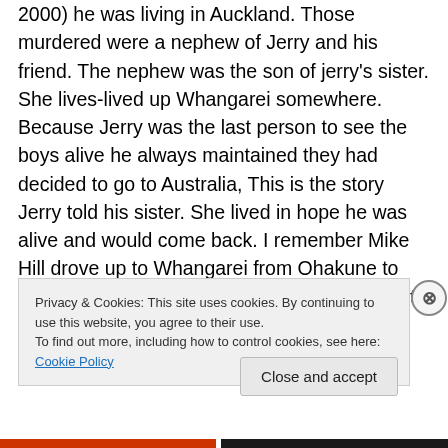2000) he was living in Auckland. Those murdered were a nephew of Jerry and his friend. The nephew was the son of jerry's sister. She lives-lived up Whangarei somewhere. Because Jerry was the last person to see the boys alive he always maintained they had decided to go to Australia, This is the story Jerry told his sister. She lived in hope he was alive and would come back. I remember Mike Hill drove up to Whangarei from Ohakune to interview her. They had gone bush with Jerry to put in a dope plantation back in the late seventies. Sometime during that period
Privacy & Cookies: This site uses cookies. By continuing to use this website, you agree to their use.
To find out more, including how to control cookies, see here: Cookie Policy
Close and accept